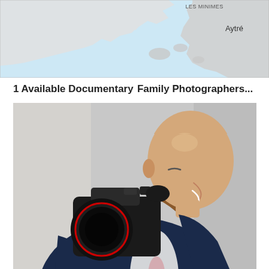[Figure (map): Partial map showing coastal area with 'LES MINIMES' label at top and 'Aytré' label on the right side. Light blue water area on left, grey land masses on right.]
1 Available Documentary Family Photographers...
[Figure (photo): A smiling bald man in a dark suit holding a large professional DSLR camera up to his face, looking down through the viewfinder. He has a camera strap over his shoulder. Background is blurred indoor setting.]